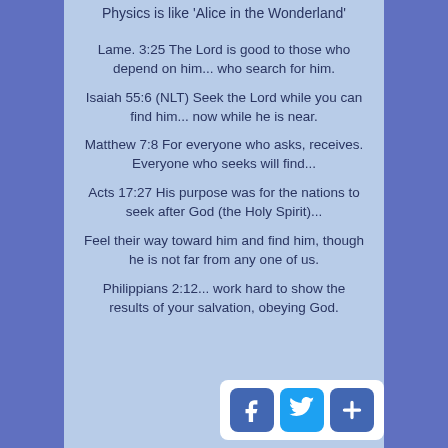Physics is like 'Alice in the Wonderland'
Lame. 3:25 The Lord is good to those who depend on him... who search for him.
Isaiah 55:6 (NLT) Seek the Lord while you can find him... now while he is near.
Matthew 7:8 For everyone who asks, receives. Everyone who seeks will find...
Acts 17:27 His purpose was for the nations to seek after God (the Holy Spirit)...
Feel their way toward him and find him, though he is not far from any one of us.
Philippians 2:12... work hard to show the results of your salvation, obeying God.